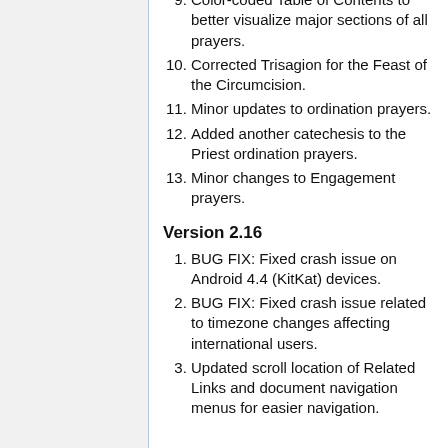9. Color-coded Table of Contents to better visualize major sections of all prayers.
10. Corrected Trisagion for the Feast of the Circumcision.
11. Minor updates to ordination prayers.
12. Added another catechesis to the Priest ordination prayers.
13. Minor changes to Engagement prayers.
Version 2.16
1. BUG FIX: Fixed crash issue on Android 4.4 (KitKat) devices.
2. BUG FIX: Fixed crash issue related to timezone changes affecting international users.
3. Updated scroll location of Related Links and document navigation menus for easier navigation.